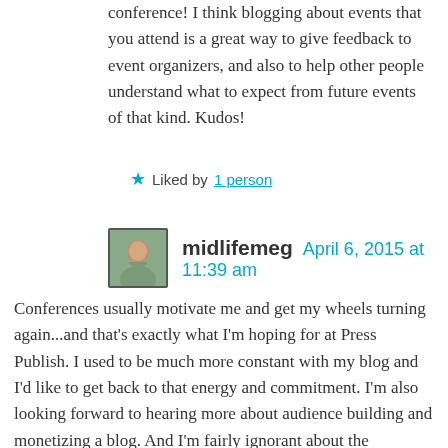conference! I think blogging about events that you attend is a great way to give feedback to event organizers, and also to help other people understand what to expect from future events of that kind. Kudos!
★ Liked by 1 person
midlifemeg  April 6, 2015 at 11:39 am
Conferences usually motivate me and get my wheels turning again...and that's exactly what I'm hoping for at Press Publish. I used to be much more constant with my blog and I'd like to get back to that energy and commitment. I'm also looking forward to hearing more about audience building and monetizing a blog. And I'm fairly ignorant about the technology so that info will be great too. You can't go wrong with me; I want all the